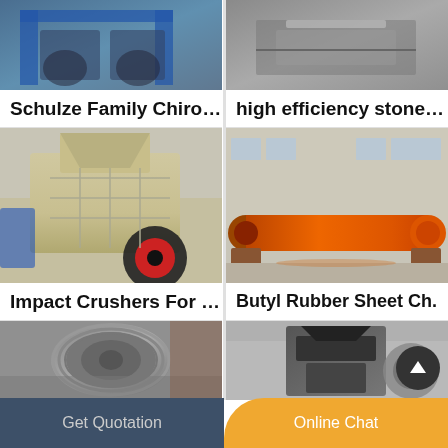[Figure (photo): Industrial machinery with blue frame structure - Schulze Family Chiror product]
[Figure (photo): Metal stone hammer/screen equipment - high efficiency stone h product]
Schulze Family Chiror…
high efficiency stone h…
[Figure (photo): Impact crusher machine - large beige/cream colored industrial crusher]
[Figure (photo): Large orange cylindrical ball mill on concrete floor in factory]
Impact Crushers For S…
Butyl Rubber Sheet Ch.
[Figure (photo): Close-up of industrial flywheel with belt pulley grooves]
[Figure (photo): Black industrial crusher machine outside factory building]
Get Quotation    Online Chat